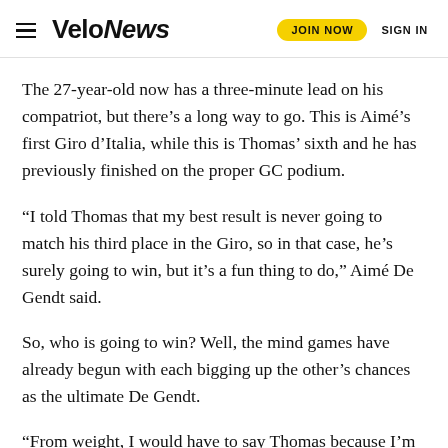VeloNews — JOIN NOW   SIGN IN
The 27-year-old now has a three-minute lead on his compatriot, but there's a long way to go. This is Aimé's first Giro d'Italia, while this is Thomas' sixth and he has previously finished on the proper GC podium.
“I told Thomas that my best result is never going to match his third place in the Giro, so in that case, he's surely going to win, but it's a fun thing to do,” Aimé De Gendt said.
So, who is going to win? Well, the mind games have already begun with each bigging up the other's chances as the ultimate De Gendt.
“From weight, I would have to say Thomas because I’m a little bit more heavy and there are still plenty of mountain stages to